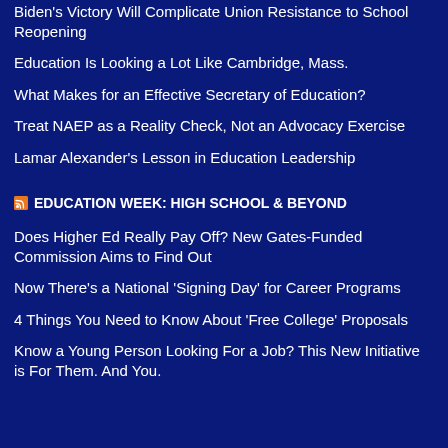Biden's Victory Will Complicate Union Resistance to School Reopening
Education Is Looking a Lot Like Cambridge, Mass.
What Makes for an Effective Secretary of Education?
Treat NAEP as a Reality Check, Not an Advocacy Exercise
Lamar Alexander's Lesson in Education Leadership
EDUCATION WEEK: HIGH SCHOOL & BEYOND
Does Higher Ed Really Pay Off? New Gates-Funded Commission Aims to Find Out
Now There's a National 'Signing Day' for Career Programs
4 Things You Need to Know About 'Free College' Proposals
Know a Young Person Looking For a Job? This New Initiative is For Them. And You.